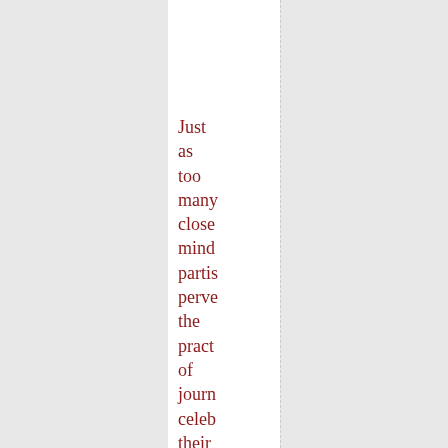Just as too many close minded partisan perverted the practice of journalism celebrating their own unedited anti-Christian